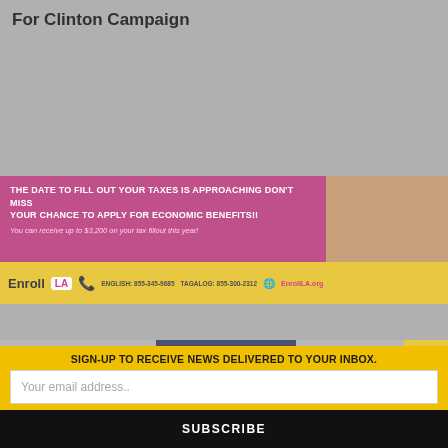For Clinton Campaign
[Figure (infographic): Enroll LA advertisement banner with pink/magenta background. Top section reads: 'THE DATE TO FILL OUT YOUR TAXES IS APPROACHING DON'T MISS YOUR CHANCE TO APPLY FOR ECONOMIC BENEFITS!!' with subtext 'You can receive up to $3,200 on your tax fillout this year!' and a family photo. Bottom yellow bar shows Enroll LA logo with phone numbers: ENGLISH: 855-345-9685, TAGALOG: 855-300-2312 and website EnrollLA.org]
[Figure (screenshot): Partial screenshot of webpage showing a dark blue content box and a yellow scroll-down arrow button on the right]
SIGN-UP TO RECEIVE NEWS DELIVERED TO YOUR INBOX.
Your email address..
SUBSCRIBE